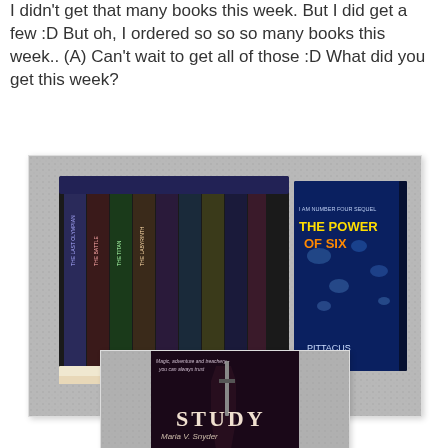I didn't get that many books this week. But I did get a few :D But oh, I ordered so so so many books this week.. (A) Can't wait to get all of those :D What did you get this week?
[Figure (photo): Photo of books on a grey carpet: a boxed set of multiple books on the left, 'The Power of Six' by Pittacus Lore on the right, and a Breaking Dawn DVD/CD in the center bottom.]
[Figure (photo): Partial photo of a book titled 'Study' by Maria V. Snyder, showing a fantasy cover with a warrior figure.]